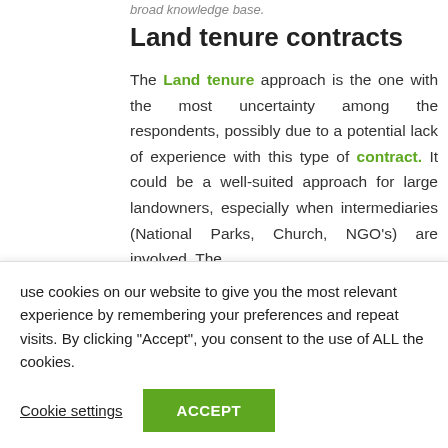broad knowledge base.
Land tenure contracts
The Land tenure approach is the one with the most uncertainty among the respondents, possibly due to a potential lack of experience with this type of contract. It could be a well-suited approach for large landowners, especially when intermediaries (National Parks, Church, NGO's) are involved. The comparatively longer contract periods of
[Figure (infographic): Green social media icons sidebar: email (envelope), Twitter bird, Facebook f, YouTube play button]
use cookies on our website to give you the most relevant experience by remembering your preferences and repeat visits. By clicking "Accept", you consent to the use of ALL the cookies.
Cookie settings   ACCEPT